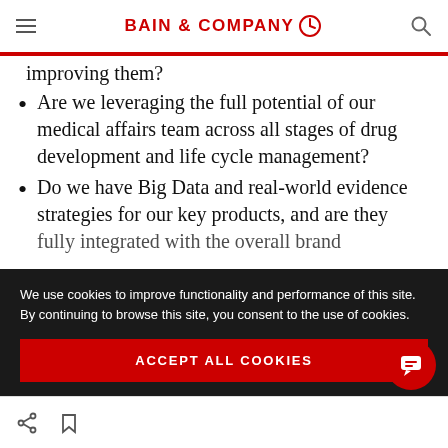BAIN & COMPANY
improving them?
Are we leveraging the full potential of our medical affairs team across all stages of drug development and life cycle management?
Do we have Big Data and real-world evidence strategies for our key products, and are they fully integrated with the overall brand
We use cookies to improve functionality and performance of this site. By continuing to browse this site, you consent to the use of cookies.
ACCEPT ALL COOKIES
Share | Bookmark